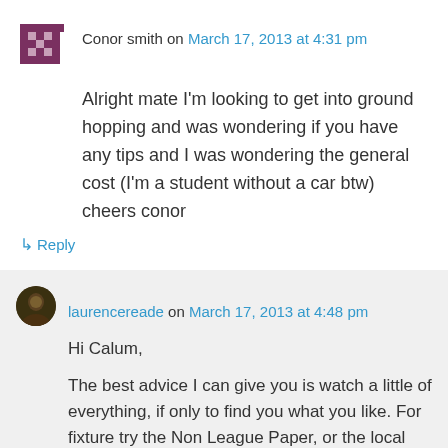Conor smith on March 17, 2013 at 4:31 pm
Alright mate I'm looking to get into ground hopping and was wondering if you have any tips and I was wondering the general cost (I'm a student without a car btw) cheers conor
↳ Reply
laurencereade on March 17, 2013 at 4:48 pm
Hi Calum,
The best advice I can give you is watch a little of everything, if only to find you what you like. For fixture try the Non League Paper, or the local papers, or the FA's